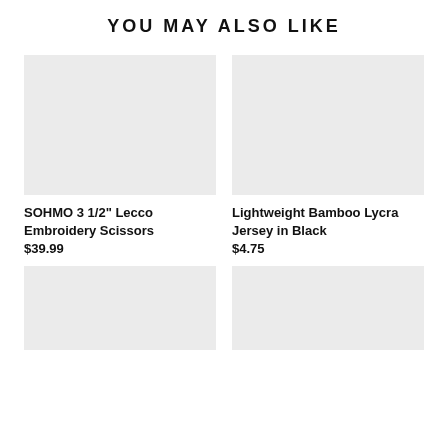YOU MAY ALSO LIKE
[Figure (photo): Product image placeholder for SOHMO 3 1/2" Lecco Embroidery Scissors (light gray box)]
SOHMO 3 1/2" Lecco Embroidery Scissors
$39.99
[Figure (photo): Product image placeholder for Lightweight Bamboo Lycra Jersey in Black (light gray box)]
Lightweight Bamboo Lycra Jersey in Black
$4.75
[Figure (photo): Product image placeholder bottom left (light gray box)]
[Figure (photo): Product image placeholder bottom right (light gray box)]